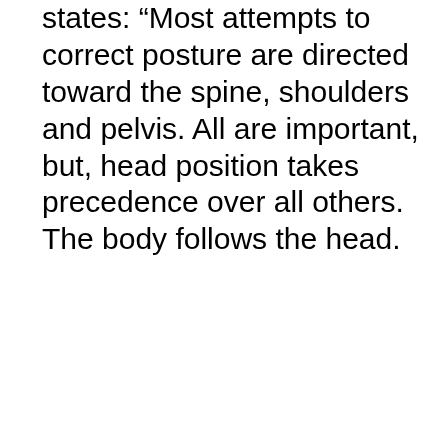states: “Most attempts to correct posture are directed toward the spine, shoulders and pelvis. All are important, but, head position takes precedence over all others. The body follows the head.